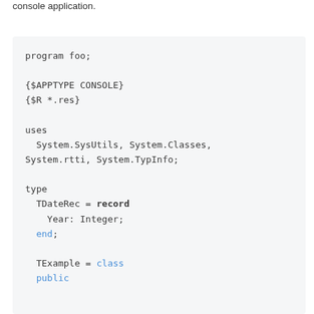console application.
[Figure (screenshot): Code block showing Delphi/Pascal source code with program foo, $APPTYPE CONSOLE, $R *.res directives, uses clause with System.SysUtils, System.Classes, System.rtti, System.TypInfo, type section with TDateRec record and TExample class declarations.]